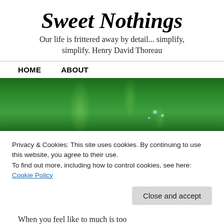Sweet Nothings
Our life is frittered away by detail... simplify, simplify. Henry David Thoreau
HOME    ABOUT
[Figure (photo): Close-up photograph of green grass blades with water droplets hanging from them.]
TAG ARCHIVES: GRAPEFRUIT
Privacy & Cookies: This site uses cookies. By continuing to use this website, you agree to their use.
To find out more, including how to control cookies, see here:
Cookie Policy
Close and accept
When you feel like to much is too